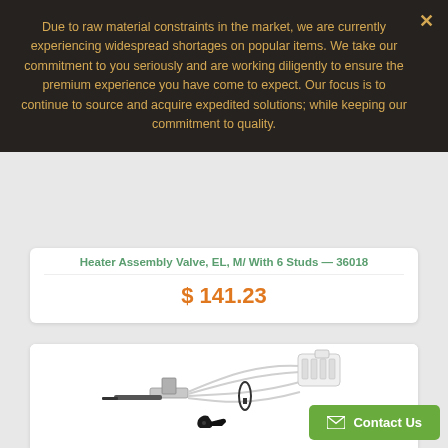Due to raw material constraints in the market, we are currently experiencing widespread shortages on popular items. We take our commitment to you seriously and are working diligently to ensure the premium experience you have come to expect. Our focus is to continue to source and acquire expedited solutions; while keeping our commitment to quality.
Heater Assembly Valve, EL, M/ With 6 Studs - 36018
$ 141.23
[Figure (photo): Product photo showing a heater assembly component with wires, a white connector plug, and a small black plastic clip piece on a white background]
Contact Us